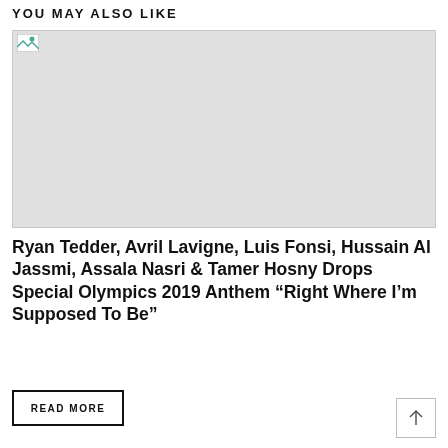YOU MAY ALSO LIKE
[Figure (photo): Placeholder image with broken image icon in top-left corner, light gray background]
Ryan Tedder, Avril Lavigne, Luis Fonsi, Hussain Al Jassmi, Assala Nasri & Tamer Hosny Drops Special Olympics 2019 Anthem “Right Where I’m Supposed To Be”
READ MORE